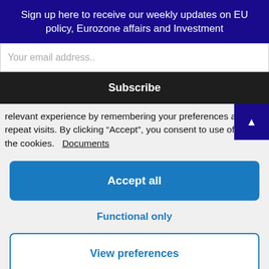Sign up here to receive our weekly updates on EU policy, Eurozone affairs and Investment
Your email address..
Subscribe
relevant experience by remembering your preferences and repeat visits. By clicking “Accept”, you consent to use of ALL the cookies. Documents
Accept all
Functional only
View preferences
One does not have to be a wholehearted supporter of the